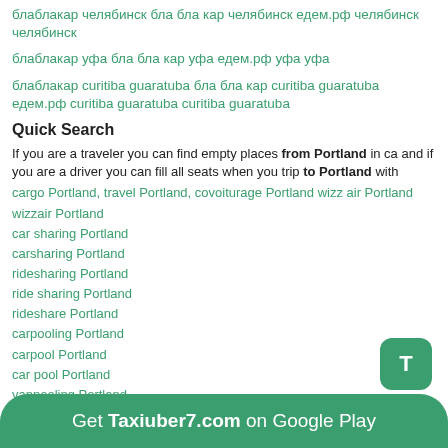блаблакар челябинск бла бла кар челябинск едем.рф челябинск челябинск
блаблакар уфа бла бла кар уфа едем.рф уфа уфа
блаблакар curitiba guaratuba бла бла кар curitiba guaratuba едем.рф curitiba guaratuba curitiba guaratuba
Quick Search
If you are a traveler you can find empty places from Portland in ca and if you are a driver you can fill all seats when you trip to Portland with
cargo Portland, travel Portland, covoiturage Portland wizz air Portland wizzair Portland
car sharing Portland
carsharing Portland
ridesharing Portland
ride sharing Portland
rideshare Portland
carpooling Portland
carpool Portland
car pool Portland
vanpooling Portland
auto stop Portland
Get Taxiuber7.com on Google Play